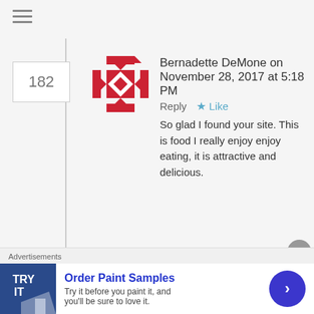[Figure (other): Hamburger menu icon (three horizontal lines)]
Bernadette DeMone on November 28, 2017 at 5:18 PM   Reply ★ Like
So glad I found your site. This is food I really enjoy enjoy eating, it is attractive and delicious.
G on December 2, 2017 at 6:57 AM   Reply ★ Like
Sawsan
Thank u for recipe. Love labne had when I was in Israel. Never knew was so easy to make. I like mine on toast w
Advertisements
Order Paint Samples
Try it before you paint it, and you'll be sure to love it.